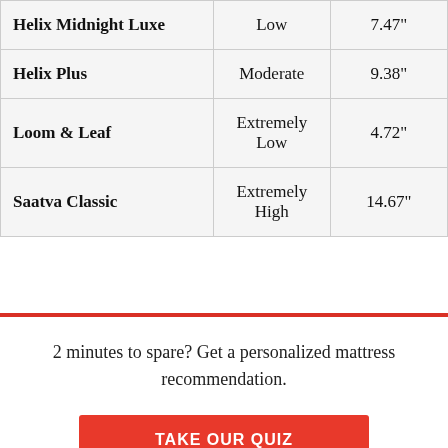| Helix Midnight Luxe | Low | 7.47" |
| Helix Plus | Moderate | 9.38" |
| Loom & Leaf | Extremely Low | 4.72" |
| Saatva Classic | Extremely High | 14.67" |
2 minutes to spare? Get a personalized mattress recommendation.